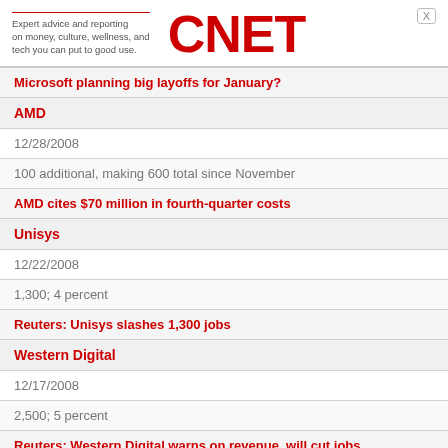Expert advice and reporting on money, culture, wellness, and tech you can put to good use. CNET
Microsoft planning big layoffs for January?
AMD
12/28/2008
100 additional, making 600 total since November
AMD cites $70 million in fourth-quarter costs
Unisys
12/22/2008
1,300; 4 percent
Reuters: Unisys slashes 1,300 jobs
Western Digital
12/17/2008
2,500; 5 percent
Reuters: Western Digital warns on revenue, will cut jobs